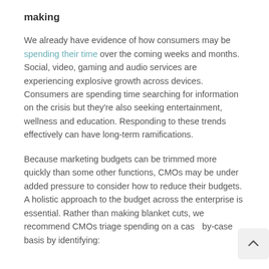making
We already have evidence of how consumers may be spending their time over the coming weeks and months. Social, video, gaming and audio services are experiencing explosive growth across devices. Consumers are spending time searching for information on the crisis but they're also seeking entertainment, wellness and education. Responding to these trends effectively can have long-term ramifications.
Because marketing budgets can be trimmed more quickly than some other functions, CMOs may be under added pressure to consider how to reduce their budgets. A holistic approach to the budget across the enterprise is essential. Rather than making blanket cuts, we recommend CMOs triage spending on a case-by-case basis by identifying: